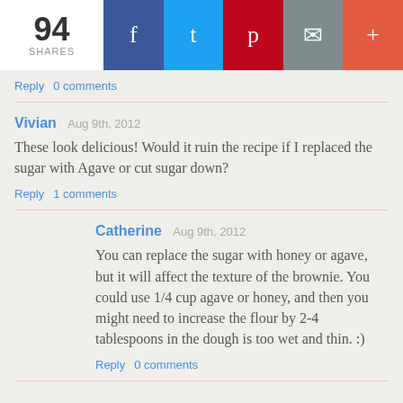[Figure (infographic): Social share bar showing 94 shares with Facebook, Twitter, Pinterest, Email, and More buttons]
Reply   0 comments
Vivian  Aug 9th, 2012
These look delicious! Would it ruin the recipe if I replaced the sugar with Agave or cut sugar down?
Reply   1 comments
Catherine  Aug 9th, 2012
You can replace the sugar with honey or agave, but it will affect the texture of the brownie. You could use 1/4 cup agave or honey, and then you might need to increase the flour by 2-4 tablespoons in the dough is too wet and thin. :)
Reply   0 comments